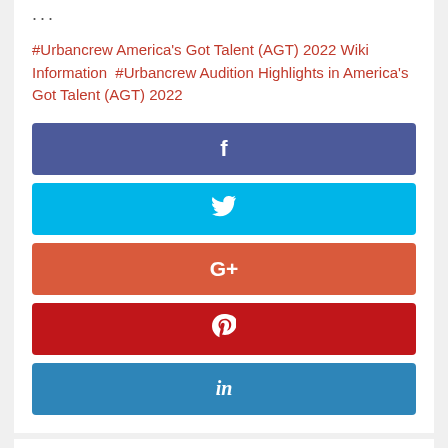#Urbancrew America's Got Talent (AGT) 2022 Wiki Information  #Urbancrew Audition Highlights in America's Got Talent (AGT) 2022
[Figure (infographic): Social share buttons: Facebook (dark blue-purple), Twitter (cyan), Google+ (red-orange), Pinterest (dark red), LinkedIn (medium blue), each as a full-width bar with the respective icon centered]
[Figure (photo): Partial view of a photo at the bottom of the page showing performers on a stage with colorful lights, and a dark gray back-to-top button with an upward chevron in the bottom-right corner]